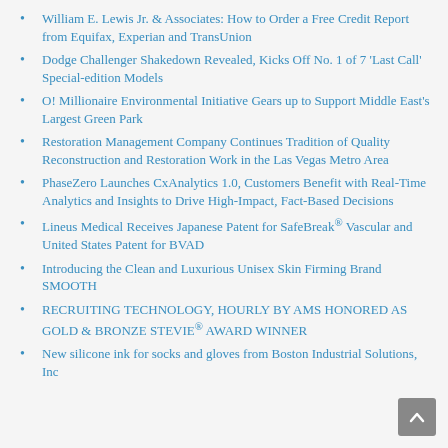William E. Lewis Jr. & Associates: How to Order a Free Credit Report from Equifax, Experian and TransUnion
Dodge Challenger Shakedown Revealed, Kicks Off No. 1 of 7 'Last Call' Special-edition Models
O! Millionaire Environmental Initiative Gears up to Support Middle East's Largest Green Park
Restoration Management Company Continues Tradition of Quality Reconstruction and Restoration Work in the Las Vegas Metro Area
PhaseZero Launches CxAnalytics 1.0, Customers Benefit with Real-Time Analytics and Insights to Drive High-Impact, Fact-Based Decisions
Lineus Medical Receives Japanese Patent for SafeBreak® Vascular and United States Patent for BVAD
Introducing the Clean and Luxurious Unisex Skin Firming Brand SMOOTH
RECRUITING TECHNOLOGY, HOURLY BY AMS HONORED AS GOLD & BRONZE STEVIE® AWARD WINNER
New silicone ink for socks and gloves from Boston Industrial Solutions, Inc